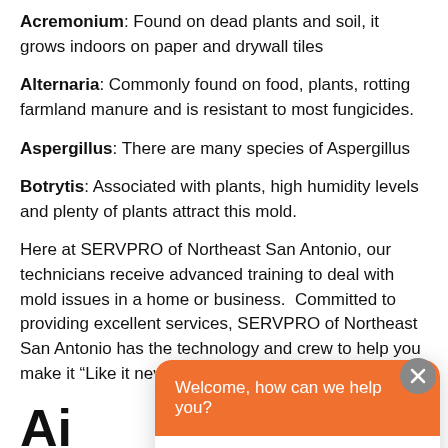Acremonium: Found on dead plants and soil, it grows indoors on paper and drywall tiles
Alternaria: Commonly found on food, plants, rotting farmland manure and is resistant to most fungicides.
Aspergillus: There are many species of Aspergillus
Botrytis: Associated with plants, high humidity levels and plenty of plants attract this mold.
Here at SERVPRO of Northeast San Antonio, our technicians receive advanced training to deal with mold issues in a home or business.  Committed to providing excellent services, SERVPRO of Northeast San Antonio has the technology and crew to help you make it “Like it never even happened.”
Ai
Be
4/15/
Is it worth having your air ducts clean?  Getting the
[Figure (screenshot): Chat widget overlay with orange header saying 'Welcome, how can we help you?', a text input field with placeholder 'Write your message...', and a grey send button. A grey X close button appears at the top right of the overlay.]